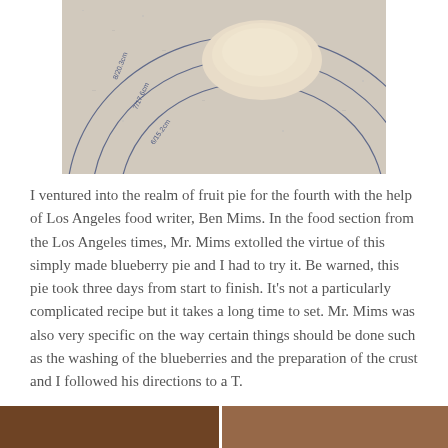[Figure (photo): Close-up of a circular baking mat or pastry board with concentric circle guidelines labeled with measurements (6/15.2cm, 7/17.6cm, 8/20.3cm), showing a mound of pale dough on the surface.]
I ventured into the realm of fruit pie for the fourth with the help of Los Angeles food writer, Ben Mims. In the food section from the Los Angeles times, Mr. Mims extolled the virtue of this simply made blueberry pie and I had to try it. Be warned, this pie took three days from start to finish. It's not a particularly complicated recipe but it takes a long time to set. Mr. Mims was also very specific on the way certain things should be done such as the washing of the blueberries and the preparation of the crust and I followed his directions to a T.
[Figure (photo): Partial view of a photo at the bottom of the page, appears to show people or food items.]